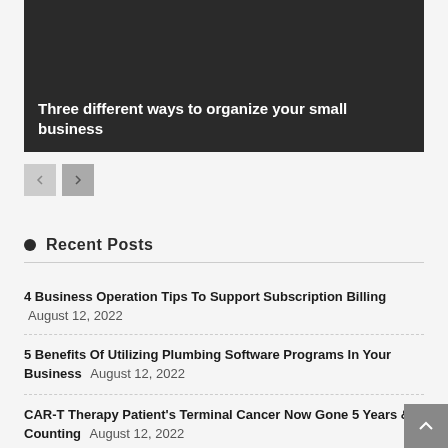[Figure (photo): Dark banner image with overlay text 'Three different ways to organize your small business']
Three different ways to organize your small business
Recent Posts
4 Business Operation Tips To Support Subscription Billing August 12, 2022
5 Benefits Of Utilizing Plumbing Software Programs In Your Business August 12, 2022
CAR-T Therapy Patient's Terminal Cancer Now Gone 5 Years & Counting August 12, 2022